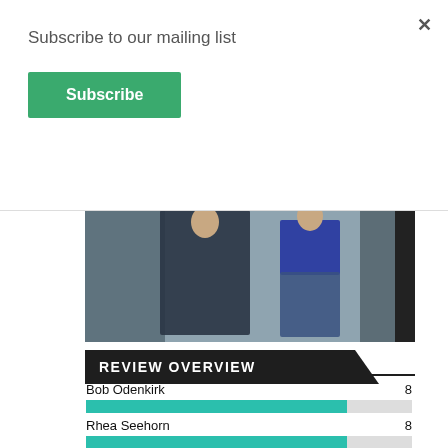Subscribe to our mailing list
Subscribe
[Figure (photo): Two people standing against a concrete wall — a man in a dark navy suit and a woman in a blue top and wide-leg jeans]
REVIEW OVERVIEW
Bob Odenkirk 8
[Figure (bar-chart): Review Overview]
Rhea Seehorn 8
[Figure (other): 4 stars rating on teal background with grey area to the right]